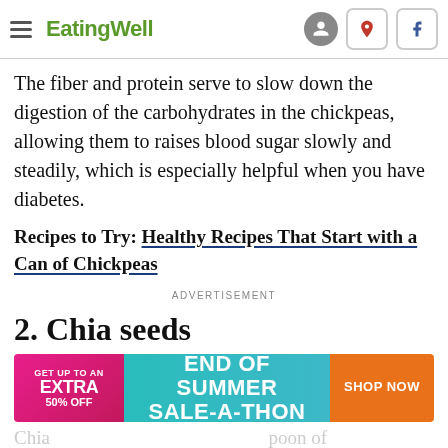EatingWell
The fiber and protein serve to slow down the digestion of the carbohydrates in the chickpeas, allowing them to raises blood sugar slowly and steadily, which is especially helpful when you have diabetes.
Recipes to Try: Healthy Recipes That Start with a Can of Chickpeas
ADVERTISEMENT
2. Chia seeds
[Figure (other): Advertisement banner: GET UP TO AN EXTRA 50% OFF | END OF SUMMER SALE-A-THON | SHOP NOW]
Chia ... poon of chi... ases...